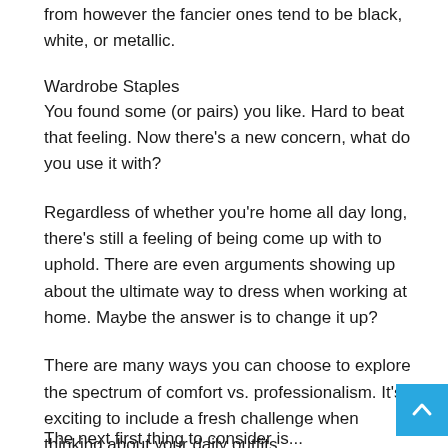from however the fancier ones tend to be black, white, or metallic.
Wardrobe Staples
You found some (or pairs) you like. Hard to beat that feeling. Now there's a new concern, what do you use it with?
Regardless of whether you're home all day long, there's still a feeling of being come up with to uphold. There are even arguments showing up about the ultimate way to dress when working at home. Maybe the answer is to change it up?
There are many ways you can choose to explore the spectrum of comfort vs. professionalism. It's exciting to include a fresh challenge when thinking about your daily outfits.
The next first thing to consider is...